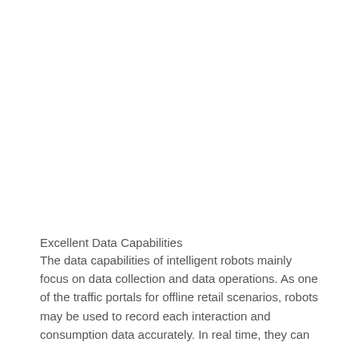Excellent Data Capabilities
The data capabilities of intelligent robots mainly focus on data collection and data operations. As one of the traffic portals for offline retail scenarios, robots may be used to record each interaction and consumption data accurately. In real time, they can